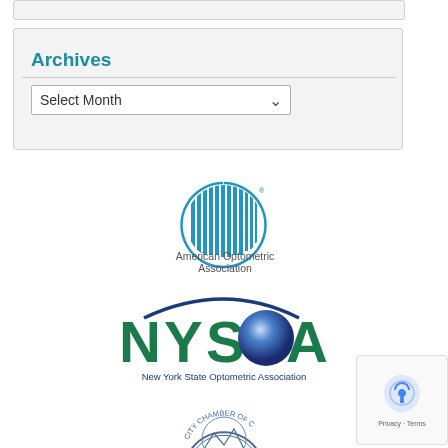Archives
Select Month
[Figure (logo): American Optometric Association logo — circular striped graphic with text 'American Optometric Association']
[Figure (logo): NYSOA — New York State Optometric Association logo with teal lettering and blue sphere]
[Figure (logo): Partial city chamber of commerce circular seal logo]